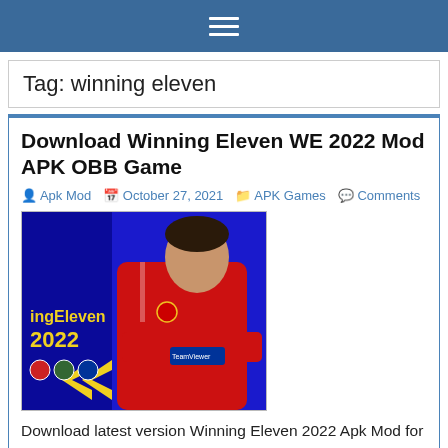≡ (hamburger menu icon)
Tag: winning eleven
Download Winning Eleven WE 2022 Mod APK OBB Game
Apk Mod  October 27, 2021  APK Games  Comments
[Figure (photo): Winning Eleven 2022 game promotional image featuring a soccer player in a red Manchester United jersey with arms crossed on a blue background, with 'Winning Eleven 2022' text and league logos visible.]
Download latest version Winning Eleven 2022 Apk Mod for Android with newest players transfers, up to date player kits, new stadiums, simple controls and new ball. WE 22 Mod Apk Android Offline 200MB Lite Best Graphics download on media for Winning Eleven 2022 Mod Apk download latest version